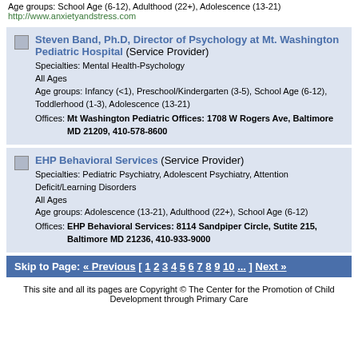Age groups: School Age (6-12), Adulthood (22+), Adolescence (13-21)
http://www.anxietyandstress.com
Steven Band, Ph.D, Director of Psychology at Mt. Washington Pediatric Hospital (Service Provider)
Specialties: Mental Health-Psychology
All Ages
Age groups: Infancy (<1), Preschool/Kindergarten (3-5), School Age (6-12), Toddlerhood (1-3), Adolescence (13-21)
Offices: Mt Washington Pediatric Offices: 1708 W Rogers Ave, Baltimore MD 21209, 410-578-8600
EHP Behavioral Services (Service Provider)
Specialties: Pediatric Psychiatry, Adolescent Psychiatry, Attention Deficit/Learning Disorders
All Ages
Age groups: Adolescence (13-21), Adulthood (22+), School Age (6-12)
Offices: EHP Behavioral Services: 8114 Sandpiper Circle, Sutite 215, Baltimore MD 21236, 410-933-9000
Skip to Page: « Previous [ 1 2 3 4 5 6 7 8 9 10 ... ] Next »
This site and all its pages are Copyright © The Center for the Promotion of Child Development through Primary Care